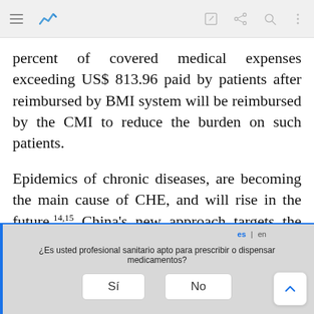[toolbar with menu icon, logo, edit, share, search, more icons]
percent of covered medical expenses exceeding US$ 813.96 paid by patients after reimbursed by BMI system will be reimbursed by the CMI to reduce the burden on such patients.
Epidemics of chronic diseases, are becoming the main cause of CHE, and will rise in the future.14,15 China's new approach targets the widely acknowledged problem of “people falling into poverty due to illnesses”, and aims to ensure that
¿Es usted profesional sanitario apto para prescribir o dispensar medicamentos?